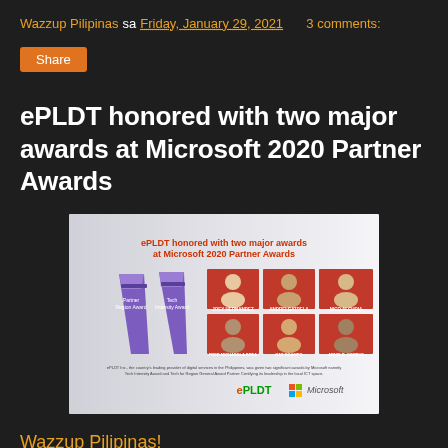Wazzup Pilipinas sa Friday, January 29, 2021   3 comments:
Share
ePLDT honored with two major awards at Microsoft 2020 Partner Awards
[Figure (photo): Promotional image showing ePLDT honored with two major awards at Microsoft 2020 Partner Awards, featuring award trophies and headshots of team members, with ePLDT and Microsoft logos at the bottom.]
Wazzup Pilipinas!
PLDT honored the country's leading provider of digital services...